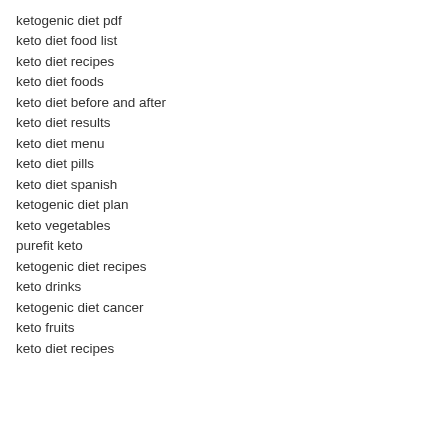ketogenic diet pdf
keto diet food list
keto diet recipes
keto diet foods
keto diet before and after
keto diet results
keto diet menu
keto diet pills
keto diet spanish
ketogenic diet plan
keto vegetables
purefit keto
ketogenic diet recipes
keto drinks
ketogenic diet cancer
keto fruits
keto diet recipes